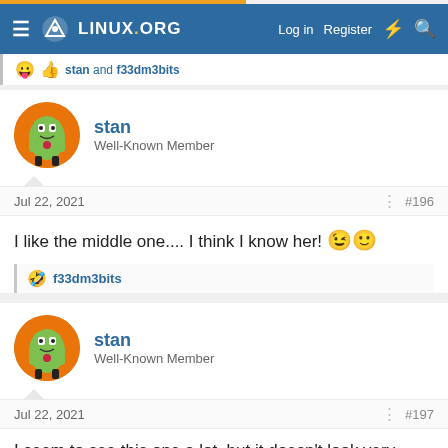LINUX.ORG — Log in | Register
stan and f33dm3bits
stan
Well-Known Member
Jul 22, 2021  #196
I like the middle one.... I think I know her! 😉🙂
f33dm3bits
stan
Well-Known Member
Jul 22, 2021  #197
I seem to see this one a lot, but it doesn't look very effective....